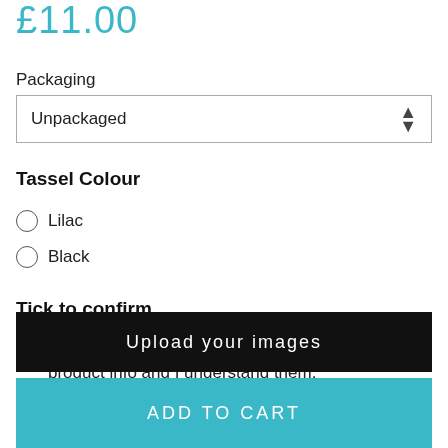£11.00
Packaging
Unpackaged
Tassel Colour
Lilac
Black
Tick to confirm
I have read the upload instructions within the product info and I understand them.
Upload your images
ADD TO CART